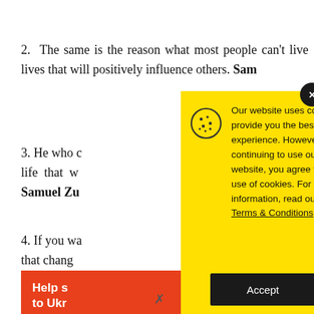2. The same is the reason what most people can't live lives that will positively influence others. Sam...
3. He who ... life that w... Samuel Zu...
4. If you wa... that chang...
Help s... to Ukr...
[Figure (screenshot): Cookie consent modal with yellow background. Contains a cookie icon, text about website cookies policy with a Terms & Conditions link, and a black Accept button. A dark circular close button (x) appears in the top-right corner.]